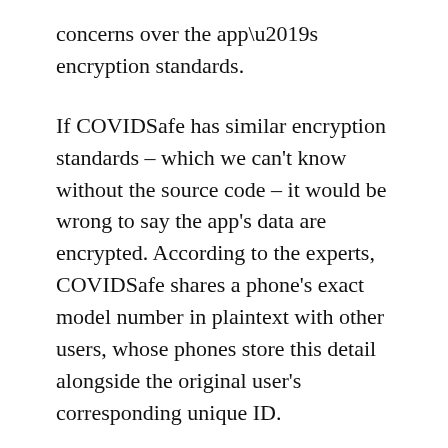concerns over the app’s encryption standards.
If COVIDSafe has similar encryption standards – which we can’t know without the source code – it would be wrong to say the app’s data are encrypted. According to the experts, COVIDSafe shares a phone’s exact model number in plaintext with other users, whose phones store this detail alongside the original user’s corresponding unique ID.
Tough tech techniques for privacy
US-based advocacy group The Open